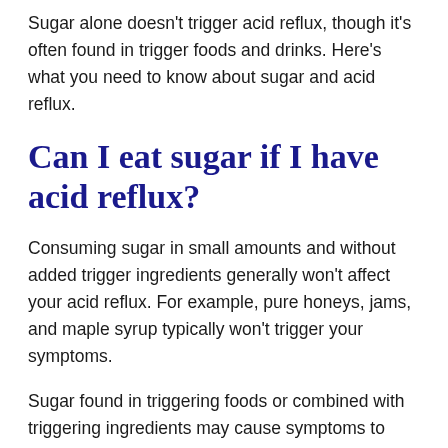Sugar alone doesn't trigger acid reflux, though it's often found in trigger foods and drinks. Here's what you need to know about sugar and acid reflux.
Can I eat sugar if I have acid reflux?
Consuming sugar in small amounts and without added trigger ingredients generally won't affect your acid reflux. For example, pure honeys, jams, and maple syrup typically won't trigger your symptoms.
Sugar found in triggering foods or combined with triggering ingredients may cause symptoms to appear.